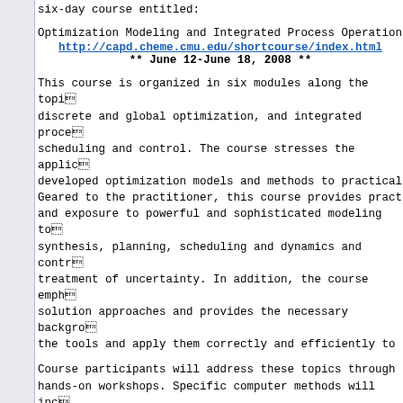six-day course entitled:
Optimization Modeling and Integrated Process Operations
http://capd.cheme.cmu.edu/shortcourse/index.html
** June 12-June 18, 2008 **
This course is organized in six modules along the topics of discrete and global optimization, and integrated process scheduling and control. The course stresses the application of developed optimization models and methods to practical problems. Geared to the practitioner, this course provides practical skills and exposure to powerful and sophisticated modeling tools for synthesis, planning, scheduling and dynamics and control and treatment of uncertainty. In addition, the course emphasizes solution approaches and provides the necessary background to use the tools and apply them correctly and efficiently to real problems.
Course participants will address these topics through lectures and hands-on workshops. Specific computer methods will include GAMS tools, nonlinear and mixed integer programming codes.
You should attend if...
- you are a process engineer interested in obtaining solutions for your design, planning, scheduling and control problems
- you are an engineer interested in learning how to formulate process design and synthesis, and for process and enterprise optimization, and how to solve them with advanced computational tools